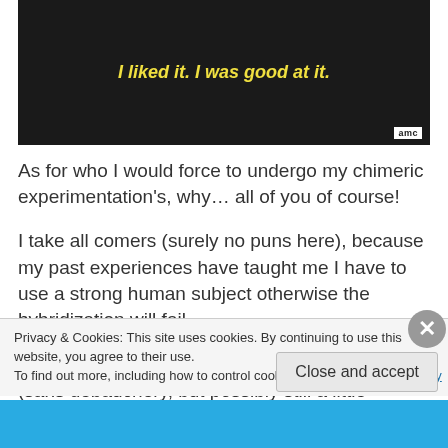[Figure (screenshot): Dark screenshot of a person with yellow italic subtitle text: I liked it. I was good at it. AMC logo badge in bottom right corner.]
As for who I would force to undergo my chimeric experimentation's, why… all of you of course!
I take all comers (surely no puns here), because my past experiences have taught me I have to use a strong human subject otherwise the hybridization will fail.
So I would put you all in a big pit in my basement (sans debauchery, but possibly still a little
Privacy & Cookies: This site uses cookies. By continuing to use this website, you agree to their use.
To find out more, including how to control cookies, see here: Cookie Policy
Close and accept